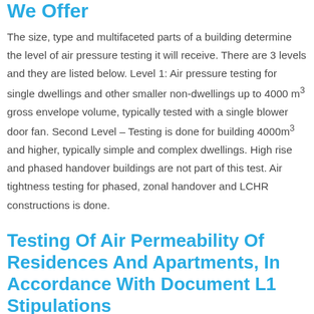We Offer
The size, type and multifaceted parts of a building determine the level of air pressure testing it will receive. There are 3 levels and they are listed below. Level 1: Air pressure testing for single dwellings and other smaller non-dwellings up to 4000 m³ gross envelope volume, typically tested with a single blower door fan. Second Level – Testing is done for building 4000m³ and higher, typically simple and complex dwellings. High rise and phased handover buildings are not part of this test. Air tightness testing for phased, zonal handover and LCHR constructions is done.
Testing Of Air Permeability Of Residences And Apartments, In Accordance With Document L1 Stipulations